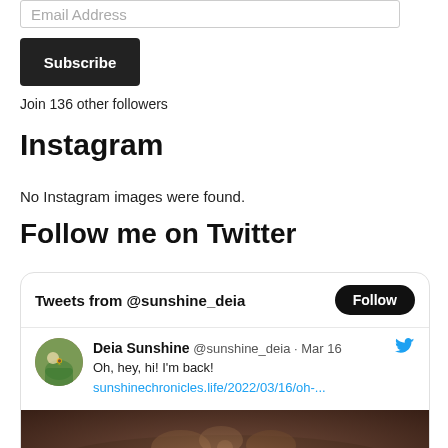Email Address
Subscribe
Join 136 other followers
Instagram
No Instagram images were found.
Follow me on Twitter
[Figure (screenshot): Twitter widget showing 'Tweets from @sunshine_deia' with a Follow button, and a tweet by Deia Sunshine (@sunshine_deia) from Mar 16 saying 'Oh, hey, hi! I\'m back!' with link sunshinechronicles.life/2022/03/16/oh-... and an image of hands over water]
sunshinechronicles.life/2022/03/16/oh-...